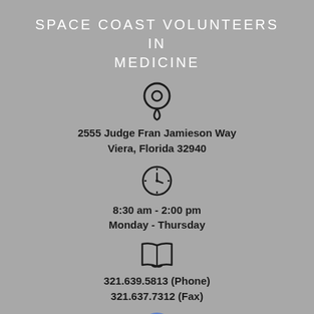SPACE COAST VOLUNTEERS IN MEDICINE
[Figure (illustration): Location pin icon (map marker outline)]
2555 Judge Fran Jamieson Way
Viera, Florida 32940
[Figure (illustration): Clock icon showing approximately 8:30]
8:30 am - 2:00 pm
Monday - Thursday
[Figure (illustration): Open book icon]
321.639.5813 (Phone)
321.637.7312 (Fax)
[Figure (illustration): Facebook icon - blue circle with white 'f']
CONNECT WITH US!
EMAIL US!